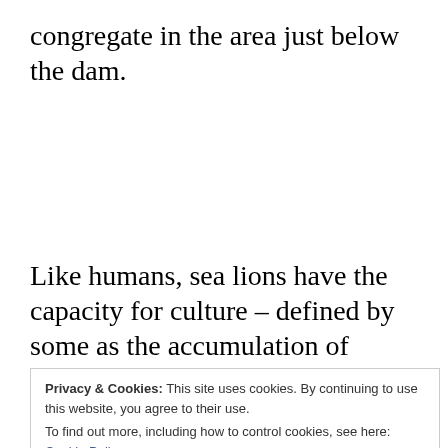congregate in the area just below the dam.
Like humans, sea lions have the capacity for culture – defined by some as the accumulation of  knowledge,
Privacy & Cookies: This site uses cookies. By continuing to use this website, you agree to their use.
To find out more, including how to control cookies, see here: Cookie Policy
Close and accept
trait as well which makes the Oregon Fish and